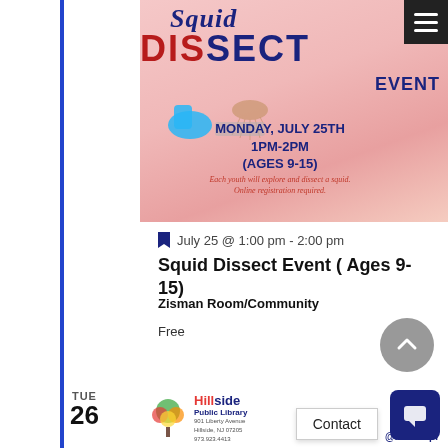[Figure (illustration): Squid Dissect Event promotional poster with pink/coral gradient background, showing large 'Squid' in cursive blue script and 'DISSECT' in bold dark red, 'EVENT' in dark navy, date Monday July 25th 1PM-2PM Ages 9-15, description text 'Each youth will explore and dissect a squid. Online registration required.' with biology/dissection imagery of gloves, tray, squid illustration.]
July 25 @ 1:00 pm - 2:00 pm
Squid Dissect Event ( Ages 9-15)
Zisman Room/Community
Free
[Figure (illustration): Hillside Public Library banner/logo showing a colorful tree logo, library name, address (901 Liberty Avenue, Hillside, NJ 07205, 973.923.4413), and @hillsidepl social handle on a white background with decorative elements.]